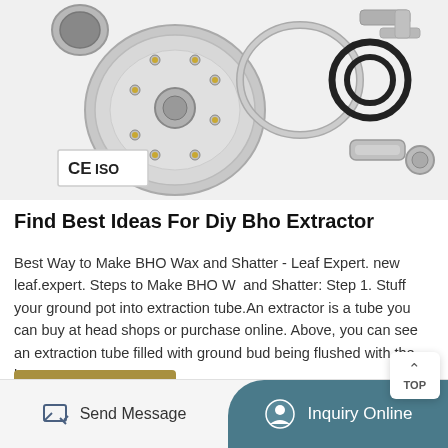[Figure (photo): Photo of stainless steel BHO extractor parts including tubes, clamps, o-rings and fittings disassembled on a white background, with CE and ISO certification badges in bottom left corner]
Find Best Ideas For Diy Bho Extractor
Best Way to Make BHO Wax and Shatter - Leaf Expert. new leaf.expert. Steps to Make BHO Wax and Shatter: Step 1. Stuff your ground pot into extraction tube.An extractor is a tube you can buy at head shops or purchase online. Above, you can see an extraction tube filled with ground bud being flushed with the butane.
Learn More
Send Message
Inquiry Online